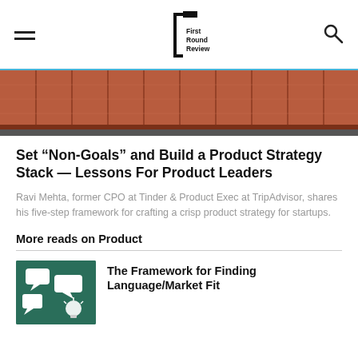First Round Review
[Figure (photo): Row of red shipping containers photographed from below against the sky]
Set “Non-Goals” and Build a Product Strategy Stack — Lessons For Product Leaders
Ravi Mehta, former CPO at Tinder & Product Exec at TripAdvisor, shares his five-step framework for crafting a crisp product strategy for startups.
More reads on Product
[Figure (photo): Speech bubbles and a lightbulb on a teal background]
The Framework for Finding Language/Market Fit